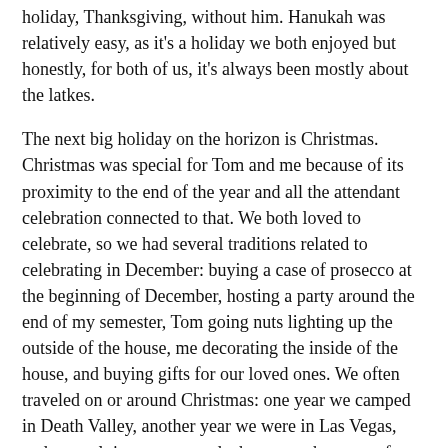holiday, Thanksgiving, without him. Hanukah was relatively easy, as it's a holiday we both enjoyed but honestly, for both of us, it's always been mostly about the latkes.
The next big holiday on the horizon is Christmas. Christmas was special for Tom and me because of its proximity to the end of the year and all the attendant celebration connected to that. We both loved to celebrate, so we had several traditions related to celebrating in December: buying a case of prosecco at the beginning of December, hosting a party around the end of my semester, Tom going nuts lighting up the outside of the house, me decorating the inside of the house, and buying gifts for our loved ones. We often traveled on or around Christmas: one year we camped in Death Valley, another year we were in Las Vegas, and several times we rented a house on the coast of Oregon with Tom's brother and his wife. One year when we flew on Christmas day, Tom bought a bunch of Starbucks gift cards to give to folks who were working at the airport to thank them for working the holiday.